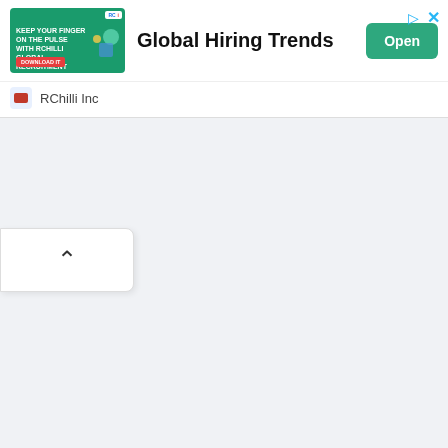[Figure (screenshot): Advertisement banner for RChilli Inc showing 'Global Hiring Trends' with a green image panel on the left containing text 'Keep your finger on the pulse with RChilli Global Recruitment Trends', an Open button on the right, ad attribution icons at top right, and RChilli Inc brand label at the bottom of the banner.]
[Figure (other): A small white rounded panel with a chevron/caret-up arrow symbol, partially visible at the left edge of the page below the ad banner, suggesting a collapsible UI element.]